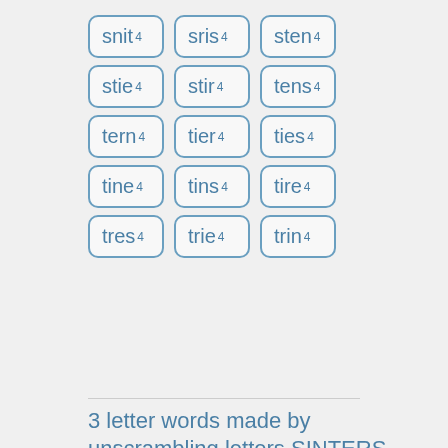snit 4
sris 4
sten 4
stie 4
stir 4
tens 4
tern 4
tier 4
ties 4
tine 4
tins 4
tire 4
tres 4
trie 4
trin 4
3 letter words made by unscrambling letters SINTERS